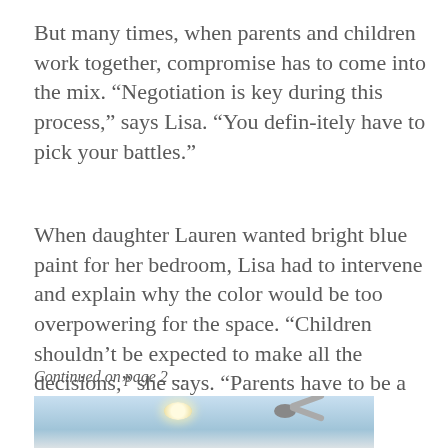But many times, when parents and children work together, compromise has to come into the mix. “Negotiation is key during this process,” says Lisa. “You defin-itely have to pick your battles.”
When daughter Lauren wanted bright blue paint for her bedroom, Lisa had to intervene and explain why the color would be too overpowering for the space. “Children shouldn’t be expected to make all the decisions,” she says. “Parents have to be a part of the process.”
Continued on page 2 …
[Figure (photo): Partial photo of a bedroom ceiling showing a ceiling light and a ceiling fan, with light blue painted walls visible at the bottom.]